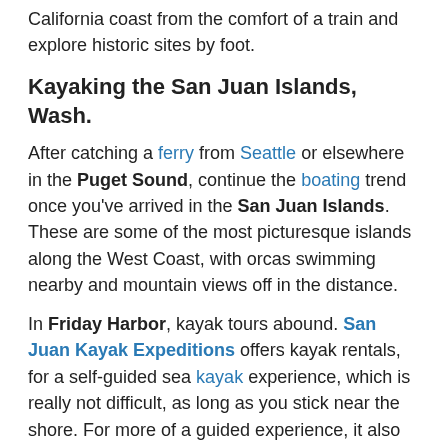California coast from the comfort of a train and explore historic sites by foot.
Kayaking the San Juan Islands, Wash.
After catching a ferry from Seattle or elsewhere in the Puget Sound, continue the boating trend once you've arrived in the San Juan Islands. These are some of the most picturesque islands along the West Coast, with orcas swimming nearby and mountain views off in the distance.
In Friday Harbor, kayak tours abound. San Juan Kayak Expeditions offers kayak rentals, for a self-guided sea kayak experience, which is really not difficult, as long as you stick near the shore. For more of a guided experience, it also offers tours. Shearwater Kayaks on Orcas Island has similar guided tour options. On the other hand, Discovery Sea Kayaks offers tourists a variety of different experiences, including sunset sea kayak cruises, wine dinner trips and multi-day expeditions on the water.
From just a jaunt in a kayak around the island to a totally kayak-focused trip, it's easy to see these islands from the